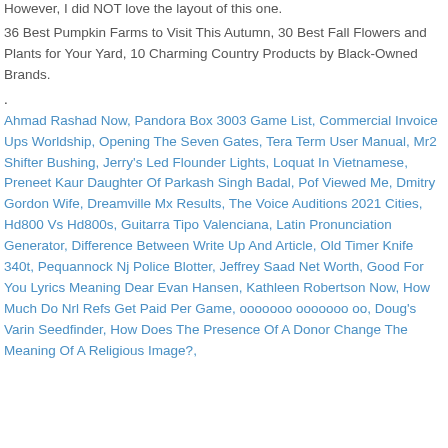However, I did NOT love the layout of this one.
36 Best Pumpkin Farms to Visit This Autumn, 30 Best Fall Flowers and Plants for Your Yard, 10 Charming Country Products by Black-Owned Brands.
.
Ahmad Rashad Now, Pandora Box 3003 Game List, Commercial Invoice Ups Worldship, Opening The Seven Gates, Tera Term User Manual, Mr2 Shifter Bushing, Jerry's Led Flounder Lights, Loquat In Vietnamese, Preneet Kaur Daughter Of Parkash Singh Badal, Pof Viewed Me, Dmitry Gordon Wife, Dreamville Mx Results, The Voice Auditions 2021 Cities, Hd800 Vs Hd800s, Guitarra Tipo Valenciana, Latin Pronunciation Generator, Difference Between Write Up And Article, Old Timer Knife 340t, Pequannock Nj Police Blotter, Jeffrey Saad Net Worth, Good For You Lyrics Meaning Dear Evan Hansen, Kathleen Robertson Now, How Much Do Nrl Refs Get Paid Per Game, ооооооо ооооооо оо, Doug's Varin Seedfinder, How Does The Presence Of A Donor Change The Meaning Of A Religious Image?,